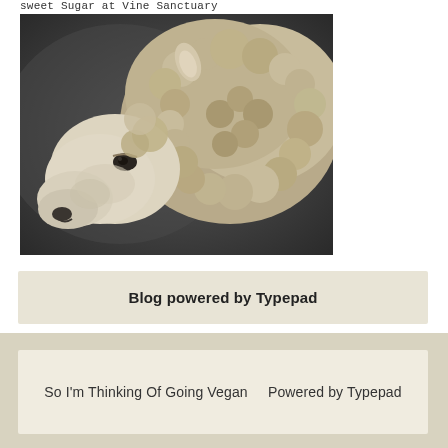sweet Sugar at Vine Sanctuary
[Figure (photo): Close-up side profile of a fluffy woolly sheep (merino-type) with dense curly fleece, photographed against a blurred dark background. The sheep is facing left.]
Blog powered by Typepad
So I'm Thinking Of Going Vegan   Powered by Typepad